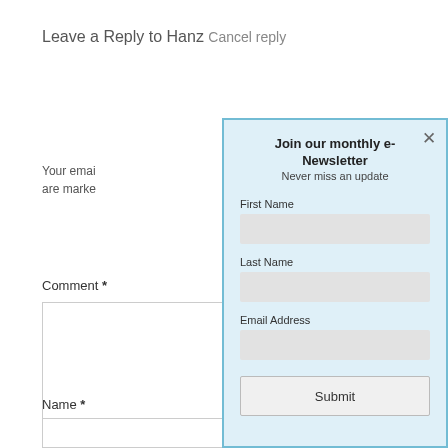Leave a Reply to Hanz Cancel reply
Your email address will not be published. Required fields are marked *
Comment *
Name *
[Figure (screenshot): Modal newsletter signup form with title 'Join our monthly e-Newsletter', subtitle 'Never miss an update', fields for First Name, Last Name, Email Address, and a Submit button. Light blue background with close X button in top right.]